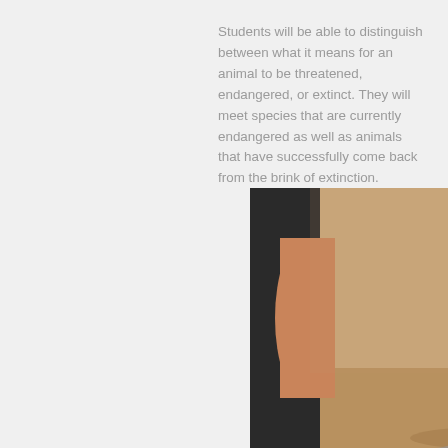Students will be able to distinguish between what it means for an animal to be threatened, endangered, or extinct. They will meet species that are currently endangered as well as animals that have successfully come back from the brink of extinction.
[Figure (photo): A young kangaroo standing upright, looking at the camera, with people's hands and legs visible on either side. The kangaroo appears to be in an enclosure with a wooden fence visible in the background.]